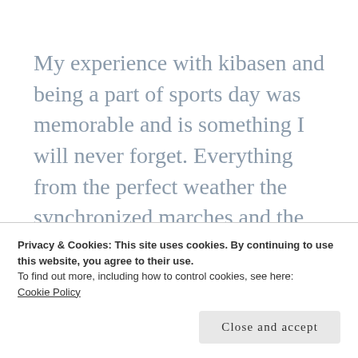My experience with kibasen and being a part of sports day was memorable and is something I will never forget. Everything from the perfect weather the synchronized marches and the traditional games made this an unreal experience on all levels. It was also great to meet many of my students' parents, as well
Privacy & Cookies: This site uses cookies. By continuing to use this website, you agree to their use.
To find out more, including how to control cookies, see here:
Cookie Policy